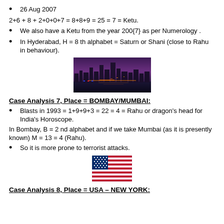26 Aug 2007
2+6 + 8 + 2+0+0+7 = 8+8+9 = 25 = 7 = Ketu.
We also have a Ketu from the year 200{7} as per Numerology .
In Hyderabad, H = 8 th alphabet = Saturn or Shani (close to Rahu in behaviour).
[Figure (photo): Night skyline of a city (Hyderabad/Mumbai) with illuminated buildings reflected on water, purple/orange sky]
Case Analysis 7, Place = BOMBAY/MUMBAI:
Blasts in 1993 = 1+9+9+3 = 22 = 4 = Rahu or dragon's head for India's Horoscope.
In Bombay, B = 2 nd alphabet and if we take Mumbai (as it is presently known) M = 13 = 4 (Rahu).
So it is more prone to terrorist attacks.
[Figure (illustration): American flag (USA flag) with stars and stripes, red white and blue]
Case Analysis 8, Place = USA – NEW YORK: